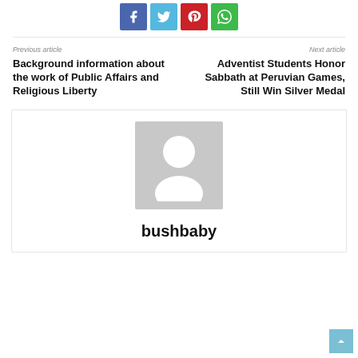[Figure (other): Social share buttons: Facebook (blue), Twitter (light blue), Pinterest (red), WhatsApp (green)]
Previous article
Background information about the work of Public Affairs and Religious Liberty
Next article
Adventist Students Honor Sabbath at Peruvian Games, Still Win Silver Medal
[Figure (photo): Default user avatar placeholder image (grey background with white silhouette of a person)]
bushbaby